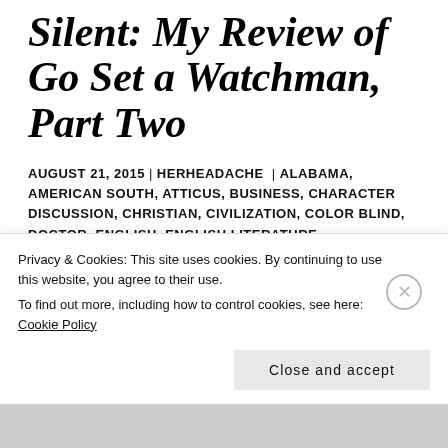Silent: My Review of Go Set a Watchman, Part Two
AUGUST 21, 2015 | HERHEADACHE | ALABAMA, AMERICAN SOUTH, ATTICUS, BUSINESS, CHARACTER DISCUSSION, CHRISTIAN, CIVILIZATION, COLOR BLIND, DOCTOR, ENGLISH, ENGLISH LITERATURE, FLASHBACKS, GO SET A WATCHMAN, HARPER LEE, HEROINE, HISTORY, HOLLYWOOD,
Privacy & Cookies: This site uses cookies. By continuing to use this website, you agree to their use. To find out more, including how to control cookies, see here: Cookie Policy
Close and accept